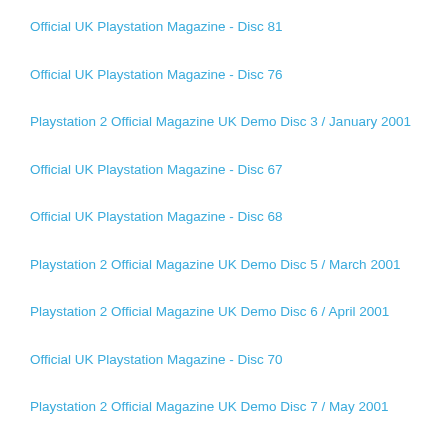Official UK Playstation Magazine - Disc 81
Official UK Playstation Magazine - Disc 76
Playstation 2 Official Magazine UK Demo Disc 3 / January 2001
Official UK Playstation Magazine - Disc 67
Official UK Playstation Magazine - Disc 68
Playstation 2 Official Magazine UK Demo Disc 5 / March 2001
Playstation 2 Official Magazine UK Demo Disc 6 / April 2001
Official UK Playstation Magazine - Disc 70
Playstation 2 Official Magazine UK Demo Disc 7 / May 2001